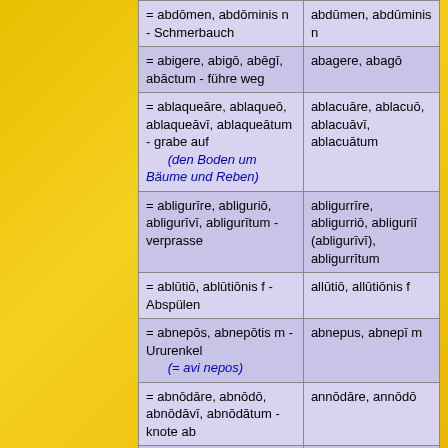| = abdōmen, abdōminis n - Schmerbauch | abdūmen, abdūminis n |
| = abigere, abigō, abēgī, abāctum - führe weg | abagere, abagō |
| = ablaqueāre, ablaqueō, ablaqueāvī, ablaqueātum - grabe auf
(den Boden um Bäume und Reben) | ablacuāre, ablacuō, ablacuāvī, ablacuātum |
| = abligurīre, abliguriō, abligurīvī, abligurītum - verprasse | abligurrīre, abligurriō, abliguriī (abligurīvī), abligurrītum |
| = ablūtiō, ablūtiōnis f - Abspülen | allūtiō, allūtiōnis f |
| = abnepōs, abnepōtis m - Ururenkel
(= avi nepos) | abnepus, abnepī m |
| = abnōdāre, abnōdō, abnōdāvī, abnōdātum - knote ab | annōdāre, annōdō |
| = abrotonum, abrotonī n - Stabwurz
(ἁβρότονον) (als Medizin verwendet) | abrotonus, abrotonī f |